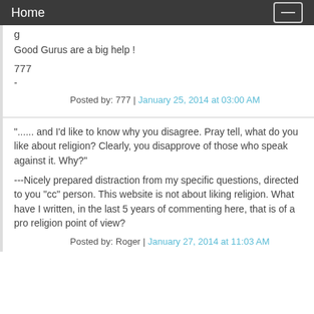Home
g
Good Gurus are a big help !
777
-
Posted by: 777 | January 25, 2014 at 03:00 AM
"...... and I'd like to know why you disagree. Pray tell, what do you like about religion? Clearly, you disapprove of those who speak against it. Why?"
---Nicely prepared distraction from my specific questions, directed to you "cc" person. This website is not about liking religion. What have I written, in the last 5 years of commenting here, that is of a pro religion point of view?
Posted by: Roger | January 27, 2014 at 11:03 AM